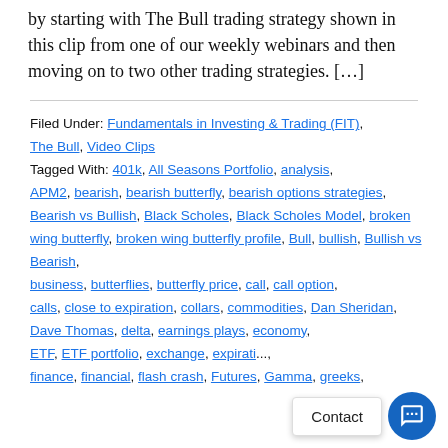by starting with The Bull trading strategy shown in this clip from one of our weekly webinars and then moving on to two other trading strategies. […]
Filed Under: Fundamentals in Investing & Trading (FIT), The Bull, Video Clips
Tagged With: 401k, All Seasons Portfolio, analysis, APM2, bearish, bearish butterfly, bearish options strategies, Bearish vs Bullish, Black Scholes, Black Scholes Model, broken wing butterfly, broken wing butterfly profile, Bull, bullish, Bullish vs Bearish, business, butterflies, butterfly price, call, call option, calls, close to expiration, collars, commodities, Dan Sheridan, Dave Thomas, delta, earnings plays, economy, ETF, ETF portfolio, exchange, expiration, finance, financial, flash crash, Futures, Gamma, greeks,